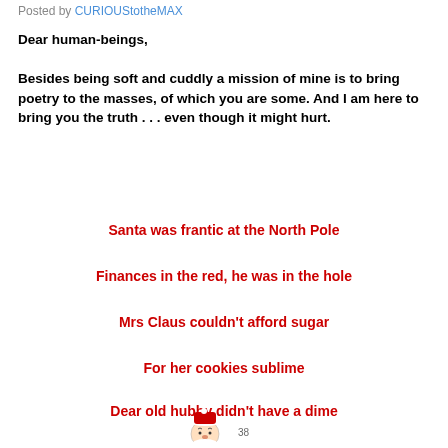Posted by CURIOUStotheMAX
Dear human-beings,

Besides being soft and cuddly a mission of mine is to bring poetry to the masses, of which you are some. And I am here to bring you the truth . . . even though it might hurt.
Santa was frantic at the North Pole
Finances in the red, he was in the hole
Mrs Claus couldn't afford sugar
For her cookies sublime
Dear old hubby didn't have a dime
[Figure (illustration): Cartoon Santa face looking worried, bottom of page]